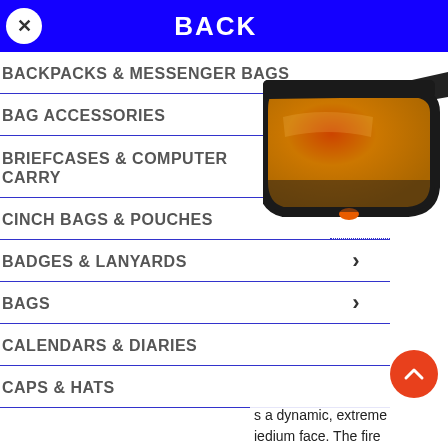BACK
BACKPACKS & MESSENGER BAGS
BAG ACCESSORIES
BRIEFCASES & COMPUTER CARRY
CINCH BAGS & POUCHES
BADGES & LANYARDS
BAGS
CALENDARS & DIARIES
CAPS & HATS
[Figure (photo): Sports sunglasses with black frame and orange/red mirrored lenses, viewed from a slight angle]
s a dynamic, extreme
edium face. The fire